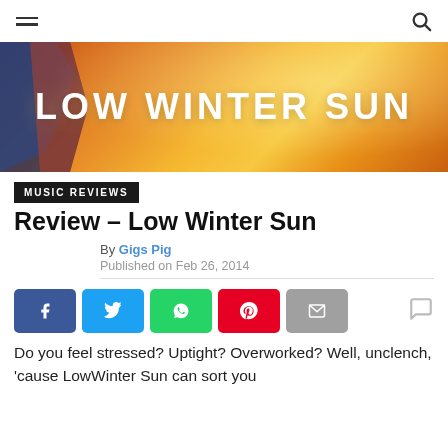Navigation bar with hamburger menu and search icon
[Figure (illustration): Low Winter Sun banner hero image with warm orange/gold glittery background and large white bold text reading LOW WINTER SUN, with a dark bird/guitar silhouette on the left]
MUSIC REVIEWS
Review – Low Winter Sun
By Gigs Pig
Published on Feb 26, 2014
[Figure (infographic): Social share buttons row: Facebook (blue), Twitter (light blue), WhatsApp (green), Pinterest (red), Email (grey), and a comment speech bubble icon]
Do you feel stressed? Uptight? Overworked? Well, unclench, 'cause LowWinter Sun can sort you